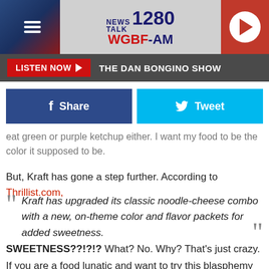[Figure (screenshot): NEWS TALK 1280 WGBF-AM radio station banner with hamburger menu icon on left, station logo in center, and red play button on right]
LISTEN NOW ▶  THE DAN BONGINO SHOW
[Figure (screenshot): Facebook Share button and Twitter Tweet button]
eat green or purple ketchup either. I want my food to be the color it supposed to be.
But, Kraft has gone a step further. According to Thrillist.com,
Kraft has upgraded its classic noodle-cheese combo with a new, on-theme color and flavor packets for added sweetness.
SWEETNESS??!?!? What? No. Why? That's just crazy.
If you are a food lunatic and want to try this blasphemy of a perfectly amazing comfort food, you will have to keep